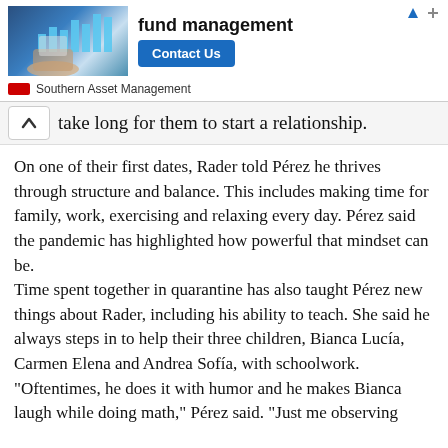[Figure (infographic): Advertisement banner for Southern Asset Management featuring a hand holding a tablet with bar chart graphics, bold text 'fund management', a blue 'Contact Us' button, and the company logo/name below.]
take long for them to start a relationship.
On one of their first dates, Rader told Pérez he thrives through structure and balance. This includes making time for family, work, exercising and relaxing every day. Pérez said the pandemic has highlighted how powerful that mindset can be.
Time spent together in quarantine has also taught Pérez new things about Rader, including his ability to teach. She said he always steps in to help their three children, Bianca Lucía, Carmen Elena and Andrea Sofía, with schoolwork.
“Oftentimes, he does it with humor and he makes Bianca laugh while doing math,” Pérez said. “Just me observing